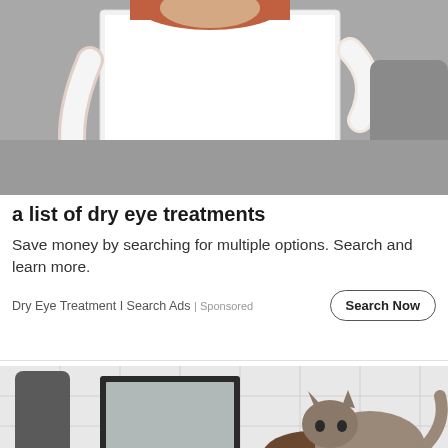[Figure (photo): Woman in white top sitting on grey couch holding up a large white piece of paper or laptop, face partially cropped out at top]
a list of dry eye treatments
Save money by searching for multiple options. Search and learn more.
Dry Eye Treatment I Search Ads | Sponsored
[Figure (photo): Man in white t-shirt crouching in a white tiled bathroom with a cat standing on his back/shoulders, mirror and grey towel visible in background]